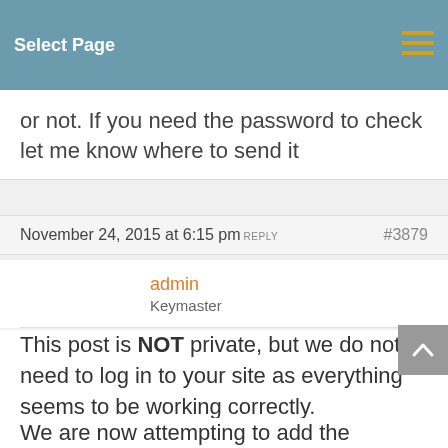Select Page
or not. If you need the password to check let me know where to send it
November 24, 2015 at 6:15 pm  REPLY  #3879
admin
Keymaster
This post is NOT private, but we do not need to log in to your site as everything seems to be working correctly.
We are now attempting to add the